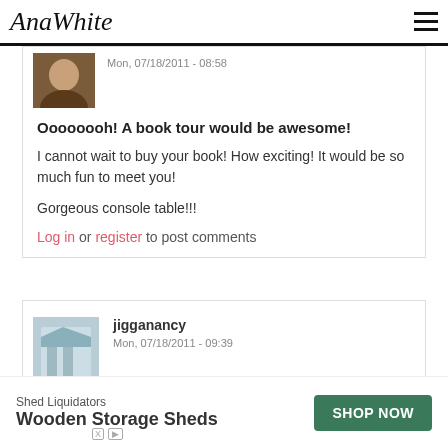AnaWhite
Mon, 07/18/2011 - 08:58
Oooooooh! A book tour would be awesome!
I cannot wait to buy your book! How exciting! It would be so much fun to meet you!
Gorgeous console table!!!
Log in or register to post comments
jigganancy
Mon, 07/18/2011 - 09:39
Shed Liquidators
Wooden Storage Sheds
SHOP NOW